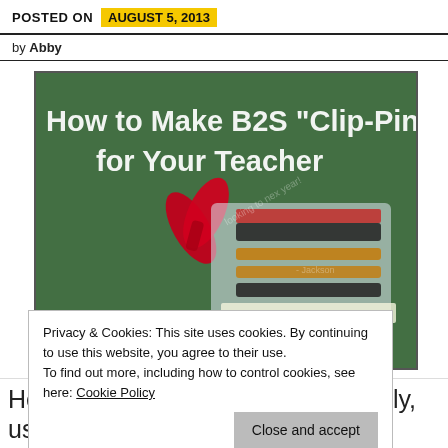POSTED ON  AUGUST 5, 2013
by Abby
[Figure (photo): Chalkboard image with white handwritten-style text reading 'How to Make B2S "Clip-Pins" for Your Teacher', with a photo of a bag of binder clips tied with a red bow overlaid on the chalkboard.]
Privacy & Cookies: This site uses cookies. By continuing to use this website, you agree to their use.
To find out more, including how to control cookies, see here: Cookie Policy
Close and accept
Here in the South school starts early, usually